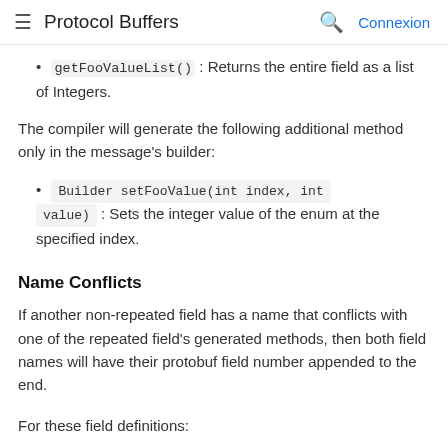Protocol Buffers  Connexion
getFooValueList() : Returns the entire field as a list of Integers.
The compiler will generate the following additional method only in the message's builder:
Builder setFooValue(int index, int value) : Sets the integer value of the enum at the specified index.
Name Conflicts
If another non-repeated field has a name that conflicts with one of the repeated field's generated methods, then both field names will have their protobuf field number appended to the end.
For these field definitions: